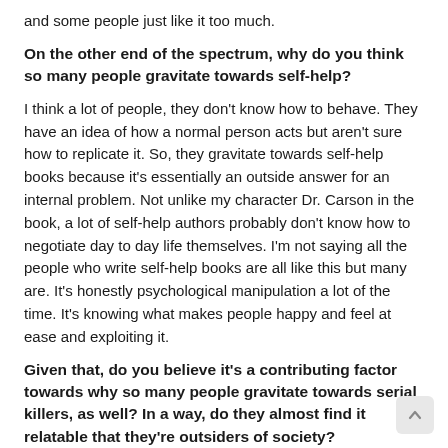and some people just like it too much.
On the other end of the spectrum, why do you think so many people gravitate towards self-help?
I think a lot of people, they don't know how to behave. They have an idea of how a normal person acts but aren't sure how to replicate it. So, they gravitate towards self-help books because it's essentially an outside answer for an internal problem. Not unlike my character Dr. Carson in the book, a lot of self-help authors probably don't know how to negotiate day to day life themselves. I'm not saying all the people who write self-help books are all like this but many are. It's honestly psychological manipulation a lot of the time. It's knowing what makes people happy and feel at ease and exploiting it.
Given that, do you believe it's a contributing factor towards why so many people gravitate towards serial killers, as well? In a way, do they almost find it relatable that they're outsiders of society?
Absolutely. That's why when people contact me and ask me